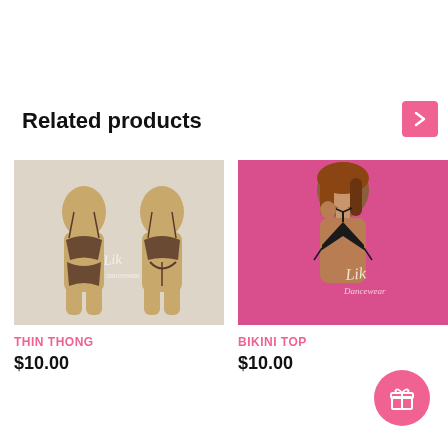Related products
[Figure (photo): Product photo of thin thong dancewear on two mannequins showing front and back views. Dark/bronze metallic fabric. Lik Dancewear logo visible.]
THIN THONG
$10.00
[Figure (photo): Product photo of bikini top on a model posing against a pink background. Black triangle bikini top. Lik Dancewear logo visible.]
BIKINI TOP
$10.00